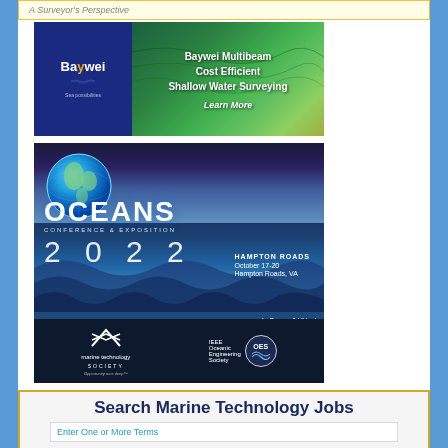A Surveyor's Perspective
[Figure (advertisement): Baywei Multibeam advertisement: blue and green ocean floor survey imagery. Left panel shows Baywei logo on dark blue background. Right panel shows colorized seabed with text: Baywei Multibeam Cost Efficient Shallow Water Surveying, Learn More.]
[Figure (advertisement): OCEANS 2022 Hampton Roads Conference & Exposition advertisement. Shows ocean scene with globe, text: OCEANS CONFERENCE & EXPOSITION 2022, HAMPTON ROADS, October 17-20, Hampton Roads, VA, In-Person & Virtual. Logos: Marine Technology Society and IEEE Oceanic Engineering Society.]
Search Marine Technology Jobs
Enter One or More Terms